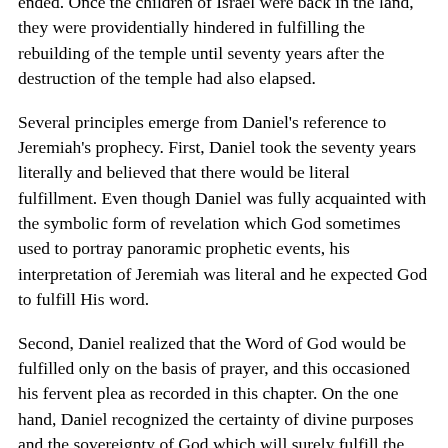ended. Once the children of Israel were back in the land, they were providentially hindered in fulfilling the rebuilding of the temple until seventy years after the destruction of the temple had also elapsed.
Several principles emerge from Daniel's reference to Jeremiah's prophecy. First, Daniel took the seventy years literally and believed that there would be literal fulfillment. Even though Daniel was fully acquainted with the symbolic form of revelation which God sometimes used to portray panoramic prophetic events, his interpretation of Jeremiah was literal and he expected God to fulfill His word.
Second, Daniel realized that the Word of God would be fulfilled only on the basis of prayer, and this occasioned his fervent plea as recorded in this chapter. On the one hand, Daniel recognized the certainty of divine purposes and the sovereignty of God which will surely fulfill the prophetic word. On the other hand, he recognized human agency, the necessity of faith and prayer, and the urgency to respond to human responsibility as it relates to the divine program. His custom of praying three times a day with his windows open to Jerusalem still in desolation revealed his own heart for the things of God and his concern for the city of Jerusalem.
Third, he recognized the need for confession of sin as a prelude to restoration. With this rich background of the prophetic program